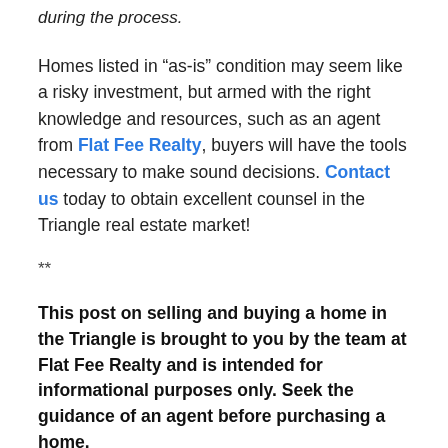Morrisville will be able to provide guidance during the process.
Homes listed in “as-is” condition may seem like a risky investment, but armed with the right knowledge and resources, such as an agent from Flat Fee Realty, buyers will have the tools necessary to make sound decisions. Contact us today to obtain excellent counsel in the Triangle real estate market!
**
This post on selling and buying a home in the Triangle is brought to you by the team at Flat Fee Realty and is intended for informational purposes only. Seek the guidance of an agent before purchasing a home.